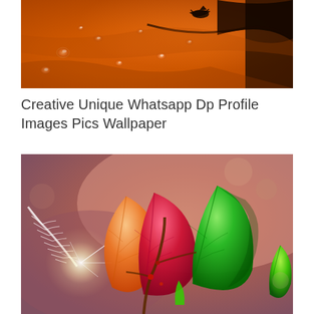[Figure (photo): Close-up macro photo of an orange surface with water droplets and a dark insect or small creature visible on the wet orange background.]
Creative Unique Whatsapp Dp Profile Images Pics Wallpaper
[Figure (photo): Colorful macro photo of plant leaves and feathers with vibrant colors — red, green, orange, yellow leaves on a stem with a white feather and bokeh background in warm reddish tones.]